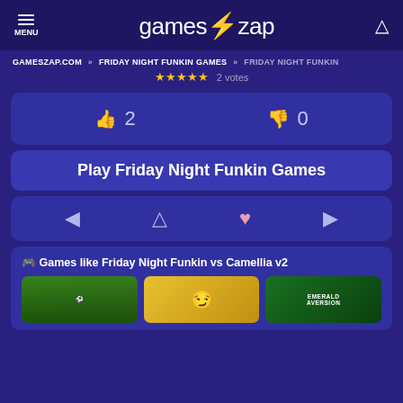MENU | games⚡zap | [search icon]
GAMESZAP.COM » FRIDAY NIGHT FUNKIN GAMES » FRIDAY NIGHT FUNKIN
★★★★★ 2 votes
👍 2   👎 0
Play Friday Night Funkin Games
[prev] ⚠ ♥ [next]
🎮 Games like Friday Night Funkin vs Camellia v2
[Figure (screenshot): Three game thumbnails: soccer/football game, yellow cartoon character game, Emerald Aversion game]
EMERALD AVERSION